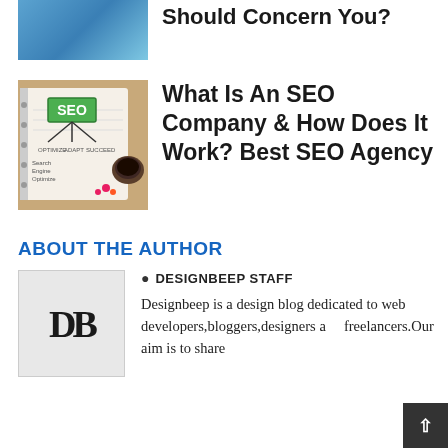[Figure (photo): Partial view of a cropped thumbnail image with blue tones (top of page, partially visible)]
Should Concern You?
[Figure (photo): Photo of a notebook with an SEO diagram showing SEO in a green box with arrows pointing to sub-categories, a coffee cup and flowers on a wooden table]
What Is An SEO Company & How Does It Work? Best SEO Agency
ABOUT THE AUTHOR
[Figure (logo): DB logo — large bold letters D and B in black on a light grey background]
DESIGNBEEP STAFF
Designbeep is a design blog dedicated to web developers,bloggers,designers and freelancers.Our aim is to share